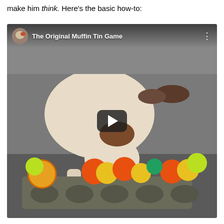make him think. Here's the basic how-to:
[Figure (screenshot): Embedded YouTube video thumbnail showing a dog sniffing at a muffin tin filled with colorful tennis balls. Video title reads 'The Original Muffin Tin Game' with a play button overlaid in the center.]